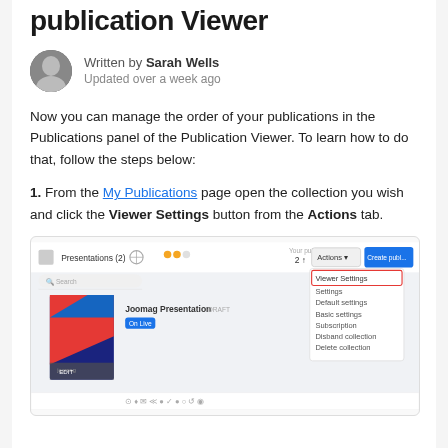publication Viewer
Written by Sarah Wells
Updated over a week ago
Now you can manage the order of your publications in the Publications panel of the Publication Viewer. To learn how to do that, follow the steps below:
1. From the My Publications page open the collection you wish and click the Viewer Settings button from the Actions tab.
[Figure (screenshot): Screenshot of the Joomag publication management interface showing Presentations (2) panel with Actions dropdown menu open, highlighting Viewer Settings option in a red box. A presentation thumbnail labeled 'Joomag Presentation' is visible with an 'On Live' badge.]